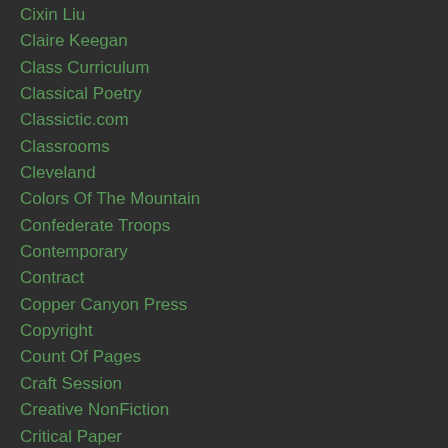Cixin Liu
Claire Keegan
Class Curriculum
Classical Poetry
Classictic.com
Classrooms
Cleveland
Colors Of The Mountain
Confederate Troops
Contemporary
Contract
Copper Canyon Press
Copyright
Count Of Pages
Craft Session
Creative NonFiction
Critical Paper
Crow Laws
Culture
CulturewCamy
Culture With Camoluscious Gally